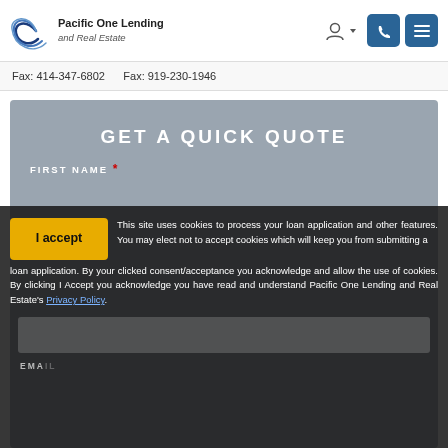[Figure (logo): Pacific One Lending and Real Estate logo with stylized 'C' swirl graphic]
Fax: 414-347-6802    Fax: 919-230-1946
GET A QUICK QUOTE
FIRST NAME *
This site uses cookies to process your loan application and other features. You may elect not to accept cookies which will keep you from submitting a loan application. By your clicked consent/acceptance you acknowledge and allow the use of cookies. By clicking I Accept you acknowledge you have read and understand Pacific One Lending and Real Estate's Privacy Policy.
I accept